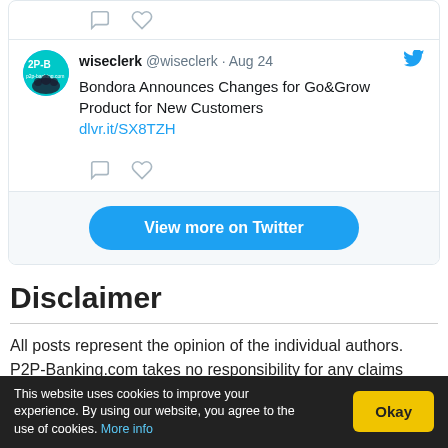[Figure (screenshot): Twitter widget showing a tweet from wiseclerk (@wiseclerk) dated Aug 24: 'Bondora Announces Changes for Go&Grow Product for New Customers dlvr.it/SX8TZH' with comment and like icons, followed by a 'View more on Twitter' button on a light grey background.]
Disclaimer
All posts represent the opinion of the individual authors. P2P-Banking.com takes no responsibility for any claims
This website uses cookies to improve your experience. By using our website, you agree to the use of cookies. More info